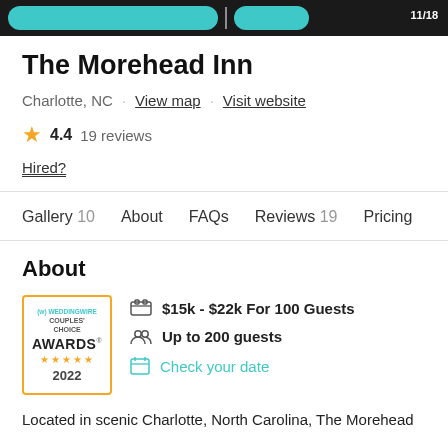The Morehead Inn
Charlotte, NC · View map · Visit website
★ 4.4  19 reviews
Hired?
Gallery 10   About   FAQs   Reviews 19   Pricing
About
[Figure (logo): WeddingWire Couples' Choice Awards 2022 badge with gold border and five gold stars]
$15k - $22k For 100 Guests
Up to 200 guests
Check your date
Located in scenic Charlotte, North Carolina, The Morehead